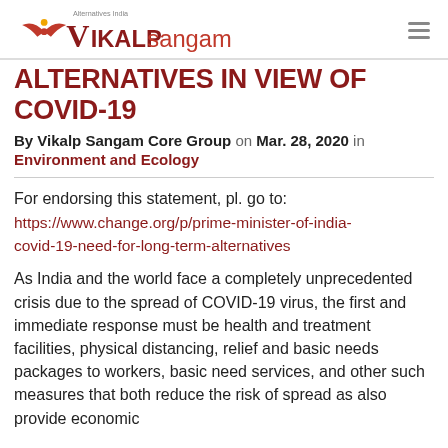[Figure (logo): Vikalp Sangam logo with bird icon and text 'Alternatives India VIKALP sangam']
ALTERNATIVES IN VIEW OF COVID-19
By Vikalp Sangam Core Group on Mar. 28, 2020 in
Environment and Ecology
For endorsing this statement, pl. go to:
https://www.change.org/p/prime-minister-of-india-covid-19-need-for-long-term-alternatives
As India and the world face a completely unprecedented crisis due to the spread of COVID-19 virus, the first and immediate response must be health and treatment facilities, physical distancing, relief and basic needs packages to workers, basic need services, and other such measures that both reduce the risk of spread as also provide economic